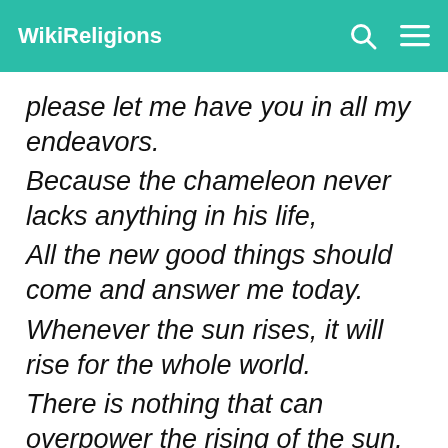WikiReligions
please let me have you in all my endeavors.
Because the chameleon never lacks anything in his life,
All the new good things should come and answer me today.
Whenever the sun rises, it will rise for the whole world.
There is nothing that can overpower the rising of the sun.
So all my blessings, wherever they may be, I command them to come & stay with me.